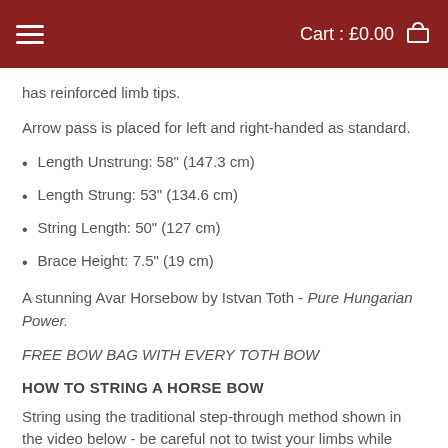Cart : £0.00
has reinforced limb tips.
Arrow pass is placed for left and right-handed as standard.
Length Unstrung: 58" (147.3 cm)
Length Strung: 53" (134.6 cm)
String Length: 50" (127 cm)
Brace Height: 7.5" (19 cm)
A stunning Avar Horsebow by Istvan Toth - Pure Hungarian Power.
FREE BOW BAG WITH EVERY TOTH BOW
HOW TO STRING A HORSE BOW
String using the traditional step-through method shown in the video below - be careful not to twist your limbs while stringing as this will void any warranty.